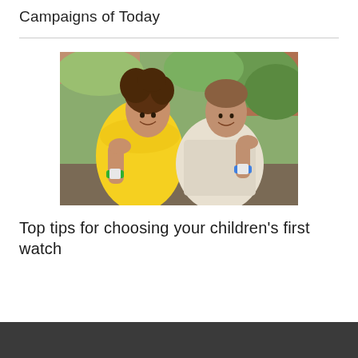Campaigns of Today
[Figure (photo): Two children sitting side by side, smiling, both wearing wristwatches. The girl on the left wears a yellow dress and has a green-banded watch; the boy on the right wears a white t-shirt and has a blue-banded watch. Background shows garden greenery and a brick wall.]
Top tips for choosing your children’s first watch